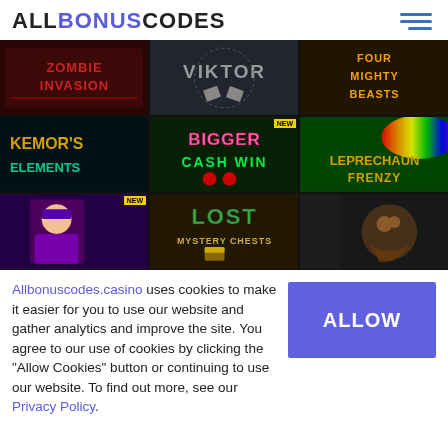ALLBONUSCODES
[Figure (screenshot): 3x3 grid of casino game thumbnails: Zombie Invasion, Viktor (Viking theme), Four Mighty Beasts, Kemor's Elements, Bigger Cash Win (NEW), Leprechaun Frenzy, a Willy Wonka-style character (NEW), Lost Mystery Chests, and a monster/creature game.]
Allbonuscodes.casino uses cookies to make it easier for you to use our website and gather analytics and improve the site. You agree to our use of cookies by clicking the "Allow Cookies" button or continuing to use our website. To find out more, see our Privacy Policy.